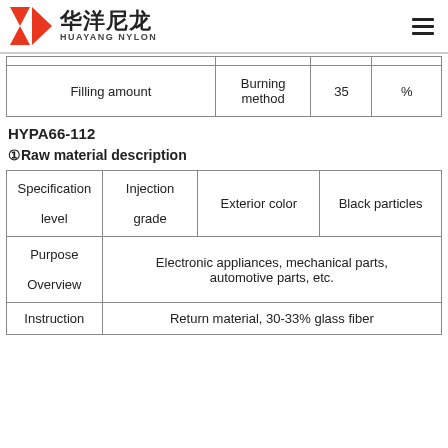华洋尼龙 HUAYANG NYLON
| Filling amount | Burning method | 35 | % |
| --- | --- | --- | --- |
HYPA66-112
①Raw material description
| Specification level | Injection grade | Exterior color | Black particles |
| --- | --- | --- | --- |
| Purpose Overview | Electronic appliances, mechanical parts, automotive parts, etc. |  |  |
| Instruction | Return material, 30-33% glass fiber |  |  |